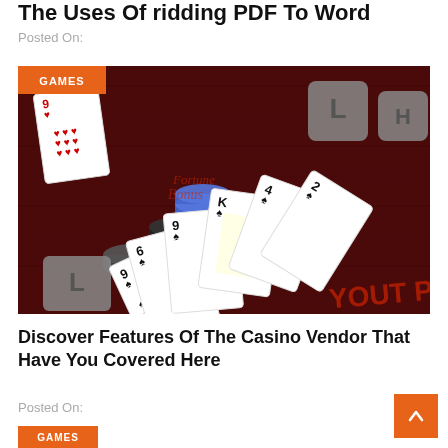The Uses Of ridding PDF To Word
Posted On:
[Figure (photo): Casino table with playing cards fanned out (spades suit prominently visible: 9, 6, 9, 4, 2, and face cards) alongside poker chips on a dark red wooden table surface. A GAMES badge is overlaid in the top-left corner.]
Discover Features Of The Casino Vendor That Have You Covered Here
Posted On: